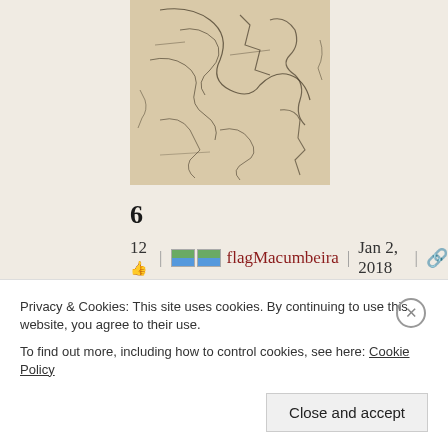[Figure (illustration): A pencil or ink sketch drawing, loose gestural lines depicting a figure or scene, on a beige/tan background]
6
12👍 | 🏳🏳flagMacumbeira | Jan 2, 2018 | 🔗
Skulls of Istria takes us from a midwestern academia to the Adriatic coast of Slovenia…where an on the lam would be American historian after some nefarious doings on his part having washed up with his girlfriend like two bits of flotsam and
Privacy & Cookies: This site uses cookies. By continuing to use this website, you agree to their use.
To find out more, including how to control cookies, see here: Cookie Policy
Close and accept